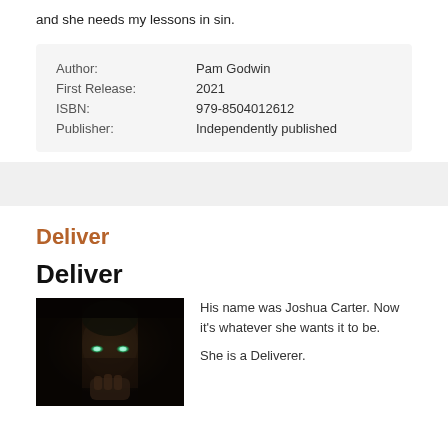and she needs my lessons in sin.
| Author: | Pam Godwin |
| First Release: | 2021 |
| ISBN: | 979-8504012612 |
| Publisher: | Independently published |
Deliver
Deliver
[Figure (photo): Dark close-up photo of a man's face with glowing green eyes, dramatic lighting against a black background.]
His name was Joshua Carter. Now it's whatever she wants it to be.

She is a Deliverer.